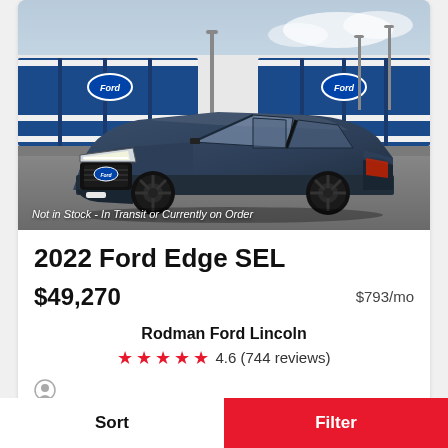[Figure (photo): A dark blue/grey 2022 Ford Edge SEL SUV parked on a lot in front of blue and white Ford shipping containers. Watermark reads: Not in Stock - In Transit or Currently on Order]
2022 Ford Edge SEL
$49,270   $793/mo
Rodman Ford Lincoln
4.6 (744 reviews)